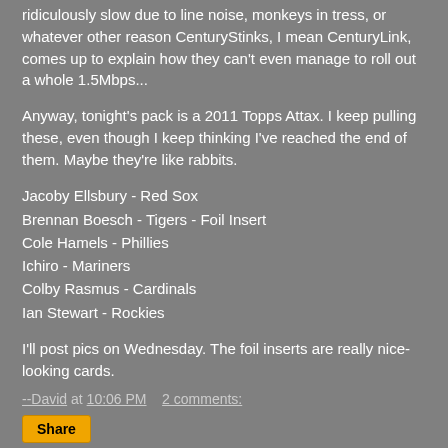ridiculously slow due to line noise, monkeys in tress, or whatever other reason CenturyStinks, I mean CenturyLink, comes up to explain how they can't even manage to roll out a whole 1.5Mbps...
Anyway, tonight's pack is a 2011 Topps Attax. I keep pulling these, even though I keep thinking I've reached the end of them. Maybe they're like rabbits.
Jacoby Ellsbury - Red Sox
Brennan Boesch - Tigers - Foil Insert
Cole Hamels - Phillies
Ichiro - Mariners
Colby Rasmus - Cardinals
Ian Stewart - Rockies
I'll post pics on Wednesday. The foil inserts are really nice-looking cards.
--David at 10:06 PM    2 comments: